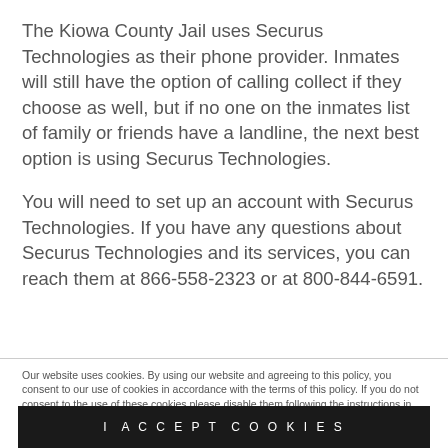The Kiowa County Jail uses Securus Technologies as their phone provider. Inmates will still have the option of calling collect if they choose as well, but if no one on the inmates list of family or friends have a landline, the next best option is using Securus Technologies.
You will need to set up an account with Securus Technologies. If you have any questions about Securus Technologies and its services, you can reach them at 866-558-2323 or at 800-844-6591.
Our website uses cookies. By using our website and agreeing to this policy, you consent to our use of cookies in accordance with the terms of this policy. If you do not consent to the use of these cookies please disable them following the instructions in this Cookie Notice so that cookies from this website cannot be placed on your device.